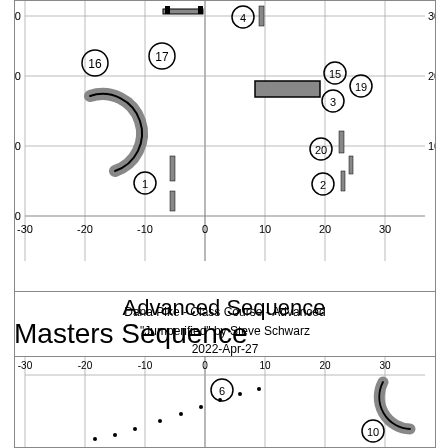[Figure (schematic): Agility course diagram for Advanced Sequence showing numbered obstacles (1-20, 2-4, 15-17, 19-20) on a coordinate grid from -30 to 30 on both axes. Obstacles include bars/jumps and a curved tunnel obstacle.]
Dana Pike - Class Course - Advanced
"Jumperified" by Steve Schwarz
2022-Apr-27
Advanced Sequence
Masters Sequence
[Figure (schematic): Agility course diagram for Masters Sequence showing numbered obstacles (6, 10) on a coordinate grid. Includes dotted path and a curved tunnel obstacle at top right.]